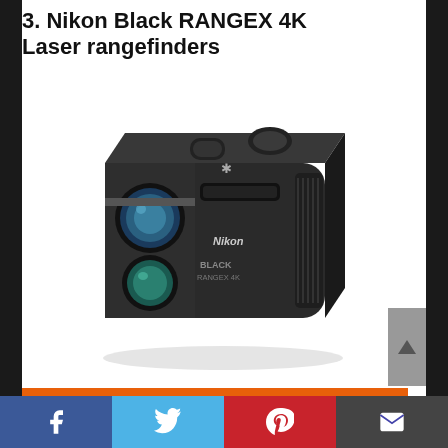3. Nikon Black RANGEX 4K Laser rangefinders
[Figure (photo): Nikon Black RANGEX 4K laser rangefinder device shown at an angle, black body with two lenses visible, Nikon and BLACK RANGEX 4K branding on body]
Social share bar with Facebook, Twitter, Pinterest, and Email icons